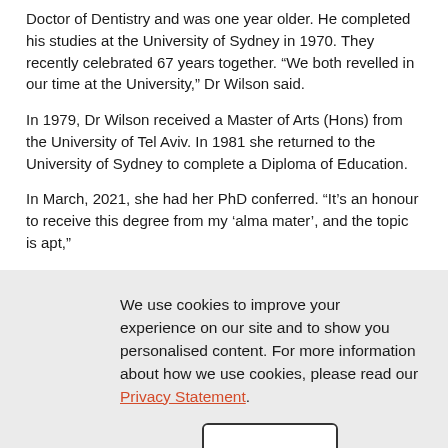Doctor of Dentistry and was one year older. He completed his studies at the University of Sydney in 1970. They recently celebrated 67 years together. “We both revelled in our time at the University,” Dr Wilson said.
In 1979, Dr Wilson received a Master of Arts (Hons) from the University of Tel Aviv. In 1981 she returned to the University of Sydney to complete a Diploma of Education.
In March, 2021, she had her PhD conferred. “It’s an honour to receive this degree from my ‘alma mater’, and the topic is apt,”
We use cookies to improve your experience on our site and to show you personalised content. For more information about how we use cookies, please read our Privacy Statement.